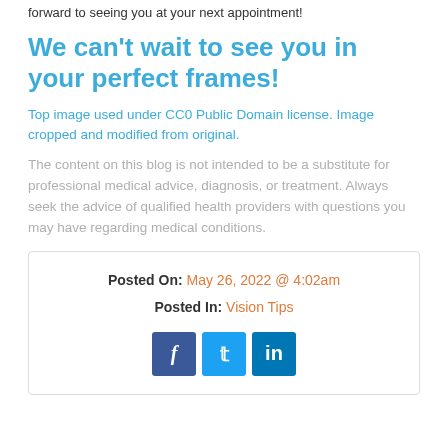forward to seeing you at your next appointment!
We can't wait to see you in your perfect frames!
Top image used under CC0 Public Domain license. Image cropped and modified from original.
The content on this blog is not intended to be a substitute for professional medical advice, diagnosis, or treatment. Always seek the advice of qualified health providers with questions you may have regarding medical conditions.
Posted On: May 26, 2022 @ 4:02am
Posted In: Vision Tips